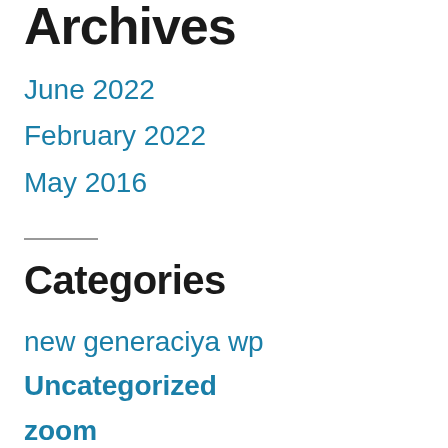Archives
June 2022
February 2022
May 2016
Categories
new generaciya wp
Uncategorized
zoom